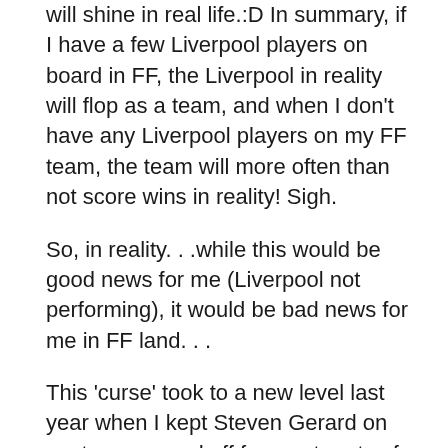will shine in real life.:D In summary, if I have a few Liverpool players on board in FF, the Liverpool in reality will flop as a team, and when I don't have any Liverpool players on my FF team, the team will more often than not score wins in reality! Sigh.
So, in reality. . .while this would be good news for me (Liverpool not performing), it would be bad news for me in FF land. . .
This 'curse' took to a new level last year when I kept Steven Gerard on my team on and off for most parts of the season. During a particular stretch, not only was he not performing (in real life) , he succumb to a groin injury that kept him out for the rest of the season!
This year, I monitored Gerard as his price dropped in early season. He was only at 14.3M when I gleefully bought him, which I felt was a bargain. Furthermore, his return